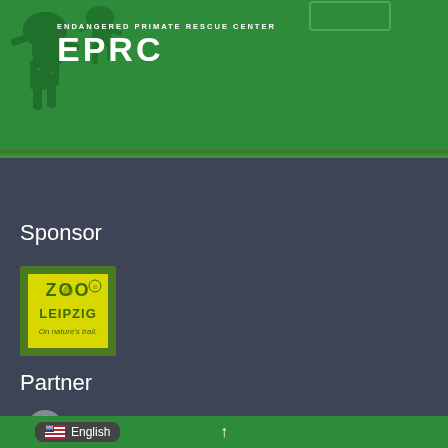[Figure (logo): EPRC Endangered Primate Rescue Center header with green background, primate silhouettes, and white text logo]
Sponsor
[Figure (logo): Zoo Leipzig logo - yellow/green square badge with text 'ZOO LEIPZIG On nature's trail.' and lion face icon]
Partner
[Figure (logo): Partially visible partner logo circle at bottom]
English ↑